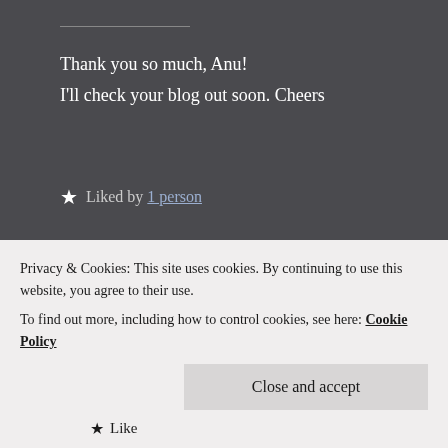Thank you so much, Anu!
I'll check your blog out soon. Cheers
★ Liked by 1 person
[Figure (photo): Avatar photo of AnuRijo, a person sitting outdoors in autumn foliage wearing a blue jacket and hat]
AnuRijo
July 5, 2020    Reply
Privacy & Cookies: This site uses cookies. By continuing to use this website, you agree to their use.
To find out more, including how to control cookies, see here: Cookie Policy
Close and accept
★ Like